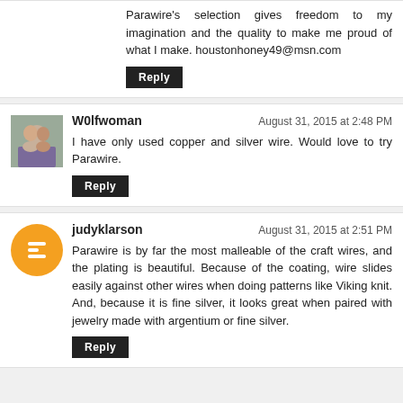Parawire's selection gives freedom to my imagination and the quality to make me proud of what I make. houstonhoney49@msn.com
Reply
W0lfwoman
August 31, 2015 at 2:48 PM
I have only used copper and silver wire. Would love to try Parawire.
Reply
judyklarson
August 31, 2015 at 2:51 PM
Parawire is by far the most malleable of the craft wires, and the plating is beautiful. Because of the coating, wire slides easily against other wires when doing patterns like Viking knit. And, because it is fine silver, it looks great when paired with jewelry made with argentium or fine silver.
Reply